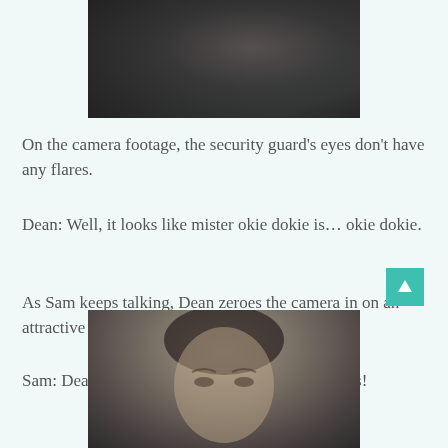[Figure (photo): Dark, blurry photo of two people in close proximity, shot in low light with a dark/teal background]
On the camera footage, the security guard’s eyes don’t have any flares.
Dean: Well, it looks like mister okie dokie is… okie dokie.
As Sam keeps talking, Dean zeroes the camera in on an attractive woman’s butt.
Sam: Dean, we’re supposed to be looking for eyes!
[Figure (photo): Close-up photo of a young man with short dark hair, looking slightly downward, in dim gray lighting]